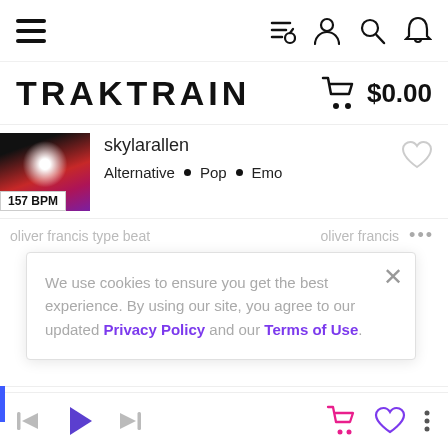[Figure (screenshot): TrakTrain music beat marketplace mobile web screenshot with nav icons, logo, beat listing, cookie consent banner, and player controls]
TRAKTRAIN
$0.00
skylarallen
Alternative • Pop • Emo
157 BPM
oliver francis type beat   oliver francis
We use cookies to ensure you get the best experience. By using our site, you agree to our updated Privacy Policy and our Terms of Use.
Vave Type Beat
Player controls bar